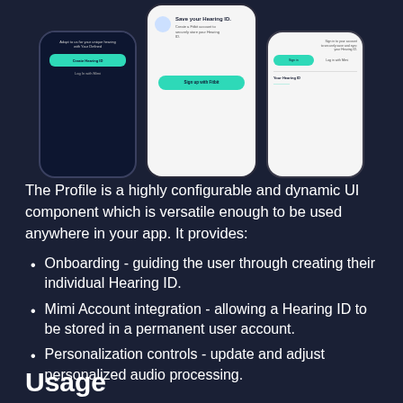[Figure (screenshot): Three smartphone screens showing a mobile app interface for Hearing ID. Left screen shows dark background with 'Create Hearing ID' button and 'Log In with Mimi' link. Center screen shows 'Save your Hearing ID' with icon and 'Sign up with Fitbit' button. Right screen shows light background with 'Sign in' button, 'Log in with Mimi' link, and 'Your Hearing ID' section.]
The Profile is a highly configurable and dynamic UI component which is versatile enough to be used anywhere in your app. It provides:
Onboarding - guiding the user through creating their individual Hearing ID.
Mimi Account integration - allowing a Hearing ID to be stored in a permanent user account.
Personalization controls - update and adjust personalized audio processing.
Usage